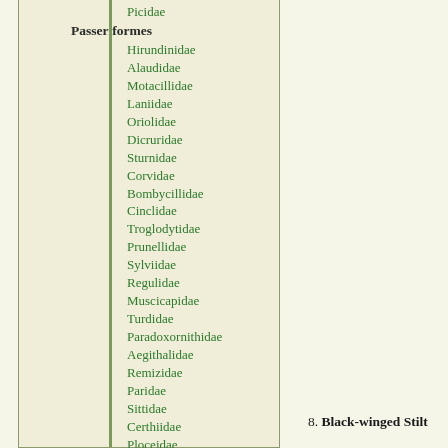Picidae
Passeriformes
Hirundinidae
Alaudidae
Motacillidae
Laniidae
Oriolidae
Dicruridae
Sturnidae
Corvidae
Bombycillidae
Cinclidae
Troglodytidae
Prunellidae
Sylviidae
Regulidae
Muscicapidae
Turdidae
Paradoxornithidae
Aegithalidae
Remizidae
Paridae
Sittidae
Certhiidae
Ploceidae
Fringillidae
Emberizidae
8. Black-winged Stilt